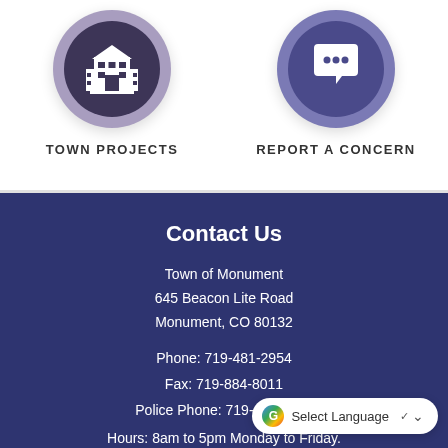[Figure (illustration): Circular icon with dark purple center showing a white building/town hall icon, surrounded by lighter purple ring, with drop shadow]
TOWN PROJECTS
[Figure (illustration): Circular icon with dark purple center showing white speech bubble/chat icon with ellipsis, surrounded by medium purple ring, with drop shadow]
REPORT A CONCERN
Contact Us
Town of Monument
645 Beacon Lite Road
Monument, CO 80132
Phone: 719-481-2954
Fax: 719-884-8011
Police Phone: 719-481-3253
Hours: 8am to 5pm Monday to Friday.